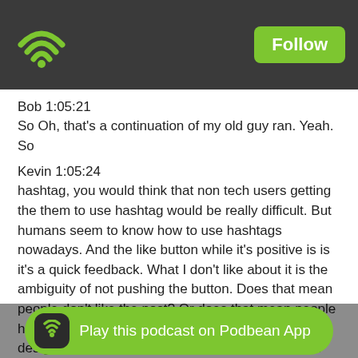[Figure (logo): Podbean app header bar with wifi/podcast icon on left and Follow button on right, dark grey background]
Bob 1:05:21
So Oh, that's a continuation of my old guy ran. Yeah. So
Kevin 1:05:24
hashtag, you would think that non tech users getting the them to use hashtag would be really difficult. But humans seem to know how to use hashtags nowadays. And the like button while it's positive is is it's a quick feedback. What I don't like about it is the ambiguity of not pushing the button. Does that mean people don't like the post? Or does that mean people haven't seen the post? And that ambiguity is by design, right where it's like, well It's not that people don't like it. Maybe they didn't see it or whatever. What do you think?
Bob 1:06:04
Yeah. Well, that I think that not seeing it, especially with all the stupid algorithms that these different networks have. I think that's a big possibility. I'm always, like perplexed by someone will post something that, especially on Twitter, actually Instagram too. So they'll pos... positive. But you wa... but your
[Figure (other): Green pill-shaped banner at bottom: Play this podcast on Podbean App]